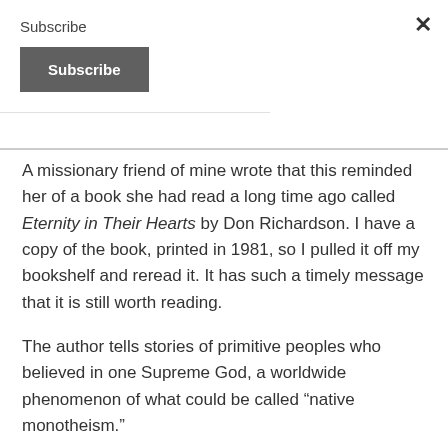Subscribe
Subscribe
A missionary friend of mine wrote that this reminded her of a book she had read a long time ago called Eternity in Their Hearts by Don Richardson. I have a copy of the book, printed in 1981, so I pulled it off my bookshelf and reread it. It has such a timely message that it is still worth reading.
The author tells stories of primitive peoples who believed in one Supreme God, a worldwide phenomenon of what could be called “native monotheism.”
He then explained how in 1871 an Englishman,